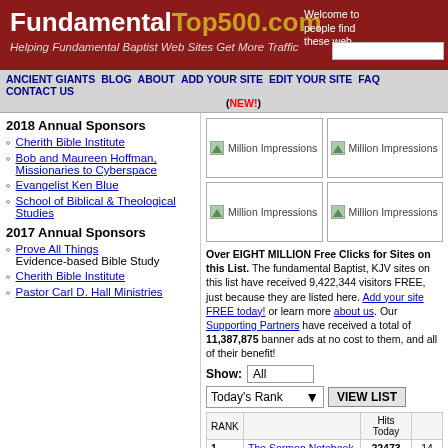FundamentalTop500.com — Helping Fundamental Baptist Web Sites Get More Traffic
Welcome to people find these web
ANCIENT GIANTS  BLOG  ABOUT  ADD YOUR SITE  EDIT YOUR SITE  FAQ  CONTACT US (NEW!)
2018 Annual Sponsors
Cherith Bible Institute
Bob and Maureen Hoffman, Missionaries to Cyberspace
Evangelist Ken Blue
School of Biblical & Theological Studies
2017 Annual Sponsors
Prove All Things — Evidence-based Bible Study
Cherith Bible Institute
Pastor Carl D. Hall Ministries
[Figure (other): Four Million Impressions banner ad placeholders in a 2x2 grid]
Over EIGHT MILLION Free Clicks for Sites on this List. The fundamental Baptist, KJV sites on this list have received 9,422,344 visitors FREE, just because they are listed here. Add your site FREE today! or learn more about us. Our Supporting Partners have received a total of 11,387,875 banner ads at no cost to them, and all of their benefit!
| RANK |  | Hits Today |  |
| --- | --- | --- | --- |
| 1 | The Sermon Notebook 4.67 stars | 22473 | 14 |
| 2 | Jesus Christ is the Only Way to Heaven! | 1663 | 14 |
| 3 | The Preachers Corner Org. | 1338 | 75 |